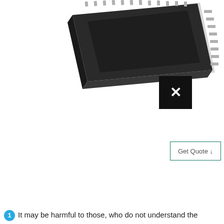[Figure (photo): Close-up photo of an integrated circuit (IC) chip, dark square package with metal pins/leads around the edges, photographed from above at an angle. Visible on white background.]
[Figure (other): Black square button with a white X (close/dismiss icon) overlaid on the image area.]
[Figure (other): Get Quote button with teal/dark green border on white background.]
It may be harmful to those, who do not understand the